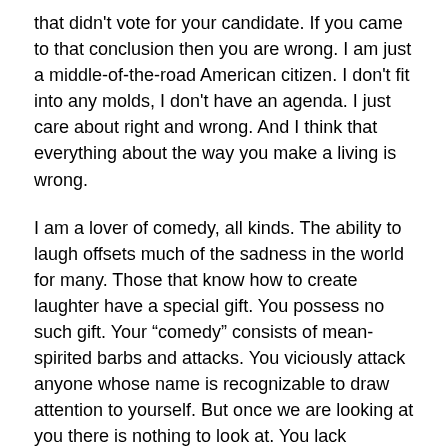that didn't vote for your candidate. If you came to that conclusion then you are wrong. I am just a middle-of-the-road American citizen. I don't fit into any molds, I don't have an agenda. I just care about right and wrong. And I think that everything about the way you make a living is wrong.
I am a lover of comedy, all kinds. The ability to laugh offsets much of the sadness in the world for many. Those that know how to create laughter have a special gift. You possess no such gift. Your “comedy” consists of mean-spirited barbs and attacks. You viciously attack anyone whose name is recognizable to draw attention to yourself. But once we are looking at you there is nothing to look at. You lack substance, empathy, discretion and sensibility.